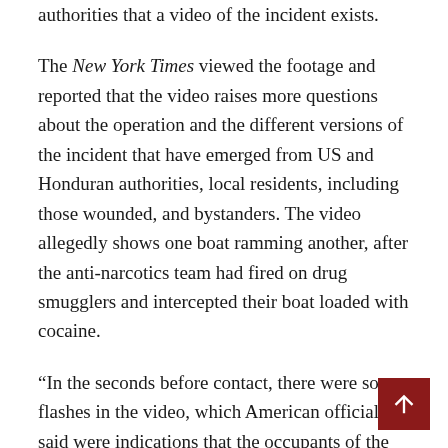authorities that a video of the incident exists.
The New York Times viewed the footage and reported that the video raises more questions about the operation and the different versions of the incident that have emerged from US and Honduran authorities, local residents, including those wounded, and bystanders. The video allegedly shows one boat ramming another, after the anti-narcotics team had fired on drug smugglers and intercepted their boat loaded with cocaine.
“In the seconds before contact, there were some flashes in the video, which American officials said were indications that the occupants of the larger boat had fired. After the ramming, a brief but ferocious flurry of shots from the boat carrying the agents was clearly visible,” Thom Shanker and Charlie Savage wrote in a June 22 New York Times article. “As the larger boat slid alongside and then moved away, there also appeared to be a spray of bullets across its middle, said by